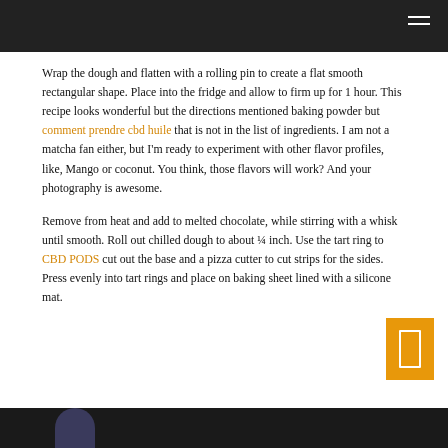Wrap the dough and flatten with a rolling pin to create a flat smooth rectangular shape. Place into the fridge and allow to firm up for 1 hour. This recipe looks wonderful but the directions mentioned baking powder but comment prendre cbd huile that is not in the list of ingredients. I am not a matcha fan either, but I'm ready to experiment with other flavor profiles, like, Mango or coconut. You think, those flavors will work? And your photography is awesome.
Remove from heat and add to melted chocolate, while stirring with a whisk until smooth. Roll out chilled dough to about ¼ inch. Use the tart ring to CBD PODS cut out the base and a pizza cutter to cut strips for the sides. Press evenly into tart rings and place on baking sheet lined with a silicone mat.
[Figure (photo): Dark background image at bottom of page, partially visible, showing a circular logo or emblem]